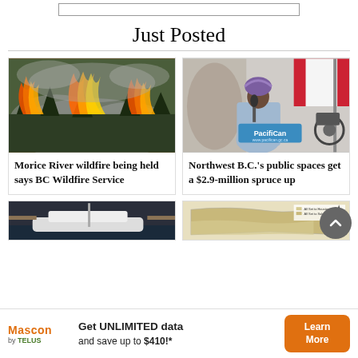Just Posted
[Figure (photo): Wildfire with flames and smoke in a forest]
Morice River wildfire being held says BC Wildfire Service
[Figure (photo): Man in blue suit and purple turban speaking at a PacifiCan podium with a Canadian flag in background]
Northwest B.C.'s public spaces get a $2.9-million spruce up
[Figure (photo): Boat in dark water]
[Figure (map): Map showing a region with colored areas]
[Figure (illustration): Mascon by TELUS advertisement banner: Get UNLIMITED data and save up to $410!*]